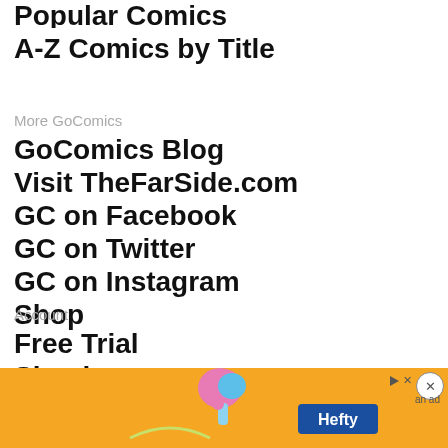Popular Comics
A-Z Comics by Title
More GoComics
GoComics Blog
Visit TheFarSide.com
GC on Facebook
GC on Twitter
GC on Instagram
Shop
Account
Free Trial
Sign in
Gift Premium
Rede
[Figure (screenshot): Hefty advertisement banner on orange background with product graphic on left and Hefty logo on right, with close button and ad indicator icons]